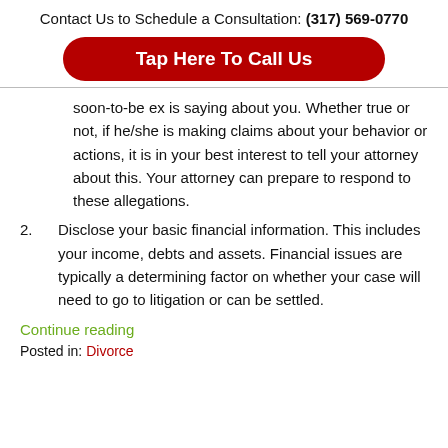Contact Us to Schedule a Consultation: (317) 569-0770
Tap Here To Call Us
soon-to-be ex is saying about you. Whether true or not, if he/she is making claims about your behavior or actions, it is in your best interest to tell your attorney about this. Your attorney can prepare to respond to these allegations.
2. Disclose your basic financial information. This includes your income, debts and assets. Financial issues are typically a determining factor on whether your case will need to go to litigation or can be settled.
Continue reading
Posted in: Divorce